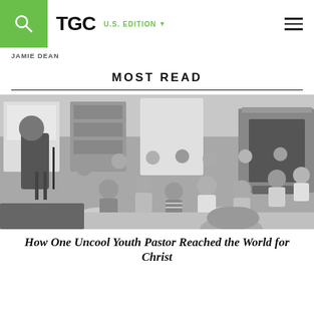TGC | U.S. EDITION
JAMIE DEAN
MOST READ
[Figure (photo): Black and white photograph of a man standing at a podium or stool speaking to a large group of young people seated on the floor in a room with a fireplace.]
How One Uncool Youth Pastor Reached the World for Christ